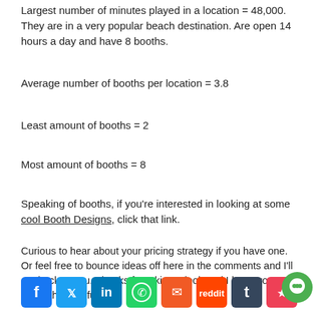Largest number of minutes played in a location = 48,000. They are in a very popular beach destination. Are open 14 hours a day and have 8 booths.
Average number of booths per location = 3.8
Least amount of booths = 2
Most amount of booths = 8
Speaking of booths, if you're interested in looking at some cool Booth Designs, click that link.
Curious to hear about your pricing strategy if you have one. Or feel free to bounce ideas off here in the comments and I'll get back to you. Thanks for taking a look and I hope you found this helpful.
[Figure (other): Social sharing icons row: Facebook, Twitter, LinkedIn, WhatsApp, Email, Reddit, Tumblr, Pocket, WeChat, plus a green chat bubble in the bottom right corner]